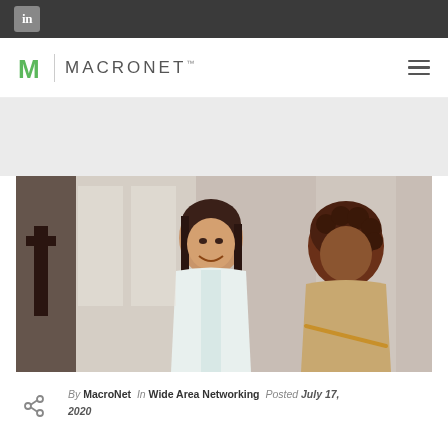LinkedIn icon in top dark bar
[Figure (logo): MacroNet logo with green M lettermark, vertical divider, and MACRONET wordmark with trademark symbol]
[Figure (photo): Business people collaborating — smiling woman in white blouse in foreground, colleagues in background, bright office environment]
By MacroNet  In Wide Area Networking  Posted July 17, 2020